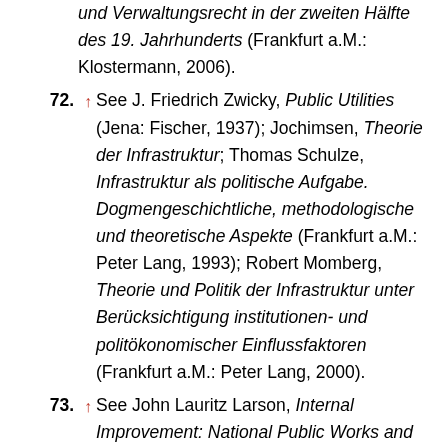und Verwaltungsrecht in der zweiten Hälfte des 19. Jahrhunderts (Frankfurt a.M.: Klostermann, 2006).
72. ↑ See J. Friedrich Zwicky, Public Utilities (Jena: Fischer, 1937); Jochimsen, Theorie der Infrastruktur; Thomas Schulze, Infrastruktur als politische Aufgabe. Dogmengeschichtliche, methodologische und theoretische Aspekte (Frankfurt a.M.: Peter Lang, 1993); Robert Momberg, Theorie und Politik der Infrastruktur unter Berücksichtigung institutionen- und politökonomischer Einflussfaktoren (Frankfurt a.M.: Peter Lang, 2000).
73. ↑ See John Lauritz Larson, Internal Improvement: National Public Works and the Promise of Popular Government in the Early United States (Chapel Hill: The University of North Carolina Press, 2001);